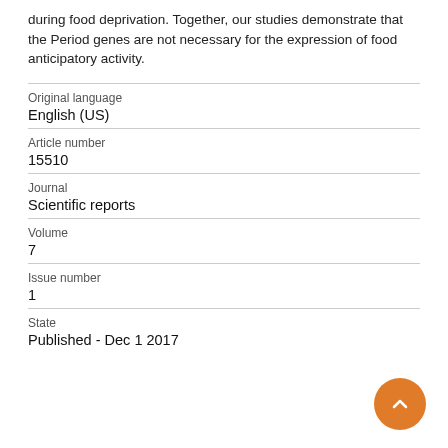during food deprivation. Together, our studies demonstrate that the Period genes are not necessary for the expression of food anticipatory activity.
| Field | Value |
| --- | --- |
| Original language | English (US) |
| Article number | 15510 |
| Journal | Scientific reports |
| Volume | 7 |
| Issue number | 1 |
| State | Published - Dec 1 2017 |